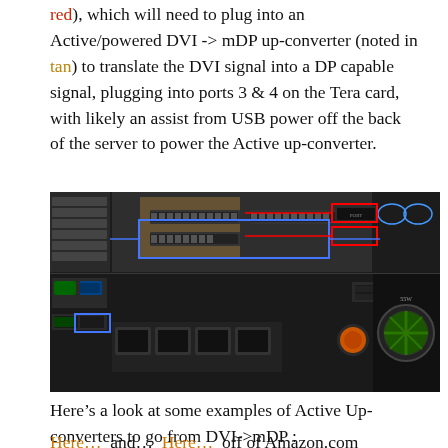red), which will need to plug into an Active/powered DVI -> mDP up-converter (noted in tan) to translate the DVI signal into a DP capable signal, plugging into ports 3 & 4 on the Tera card, with likely an assist from USB power off the back of the server to power the Active up-converter.
[Figure (photo): Photo of the back panel of a rack-mounted server showing PCI expansion slots, network ports, USB ports, power supply, and fan. Red rectangles annotate specific ports/connectors on the Tera card area. Blue rectangles outline a card region. A tan/brown highlight covers a portion of the panel.]
Here’s a look at some examples of Active Up-converters to go from DVI->mDP :
Here…  and…  Here…  off of Amazon.com  (Disclaimer: I’m not necessarily recommending either of these, they